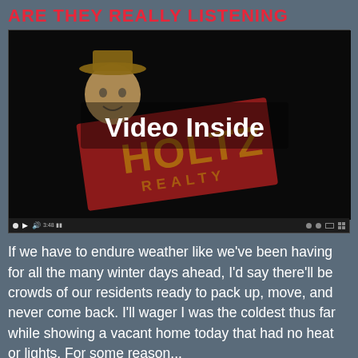ARE THEY REALLY LISTENING
[Figure (screenshot): Video thumbnail showing the Holtz Realty logo (a cartoon character wearing a hat holding a sign) on a dark background with 'Video Inside' text overlay and video player controls at the bottom.]
If we have to endure weather like we've been having for all the many winter days ahead, I'd say there'll be crowds of our residents ready to pack up, move, and never come back. I'll wager I was the coldest thus far while showing a vacant home today that had no heat or lights. For some reason...